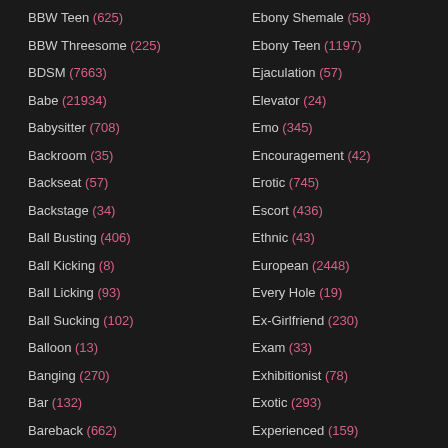BBW Teen (625)
BBW Threesome (225)
BDSM (7663)
Babe (21934)
Babysitter (708)
Backroom (35)
Backseat (57)
Backstage (34)
Ball Busting (406)
Ball Kicking (8)
Ball Licking (93)
Ball Sucking (102)
Balloon (13)
Banging (270)
Bar (132)
Bareback (662)
Ebony Shemale (58)
Ebony Teen (1197)
Ejaculation (57)
Elevator (24)
Emo (345)
Encouragement (42)
Erotic (745)
Escort (436)
Ethnic (43)
European (2448)
Every Hole (19)
Ex-Girlfriend (230)
Exam (33)
Exhibitionist (78)
Exotic (293)
Experienced (159)